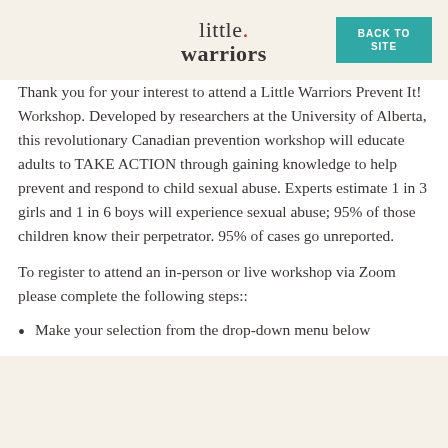little warriors BACK TO SITE
Thank you for your interest to attend a Little Warriors Prevent It! Workshop. Developed by researchers at the University of Alberta, this revolutionary Canadian prevention workshop will educate adults to TAKE ACTION through gaining knowledge to help prevent and respond to child sexual abuse. Experts estimate 1 in 3 girls and 1 in 6 boys will experience sexual abuse; 95% of those children know their perpetrator. 95% of cases go unreported.
To register to attend an in-person or live workshop via Zoom please complete the following steps::
Make your selection from the drop-down menu below